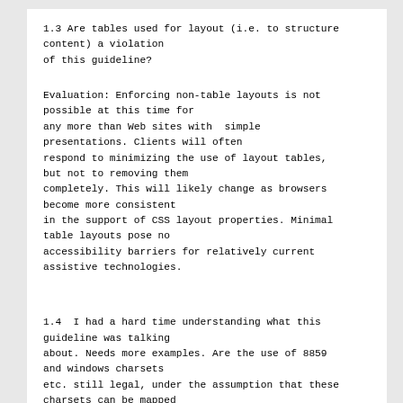1.3 Are tables used for layout (i.e. to structure content) a violation of this guideline?
Evaluation: Enforcing non-table layouts is not possible at this time for any more than Web sites with  simple presentations. Clients will often respond to minimizing the use of layout tables, but not to removing them completely. This will likely change as browsers become more consistent in the support of CSS layout properties. Minimal table layouts pose no accessibility barriers for relatively current assistive technologies.
1.4  I had a hard time understanding what this guideline was talking about. Needs more examples. Are the use of 8859 and windows charsets etc. still legal, under the assumption that these charsets can be mapped backed to unicode (utf-8/16)? Does this mean a developer must provide a utility that will convert other charsets to unicode? Need more